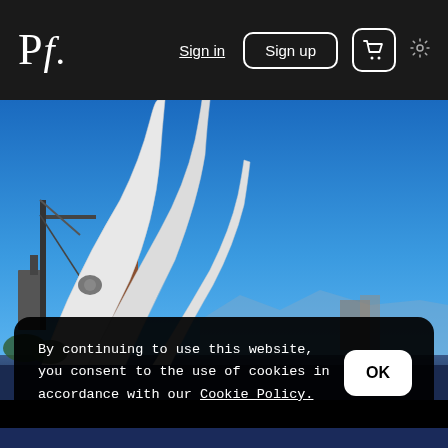Pf. | Sign in | Sign up | Cart | Settings
[Figure (photo): Outdoor photo of large white sculptural whale fin or arch structures against a clear blue sky, with industrial buildings and a lighthouse visible in the background]
By continuing to use this website, you consent to the use of cookies in accordance with our Cookie Policy.
OK